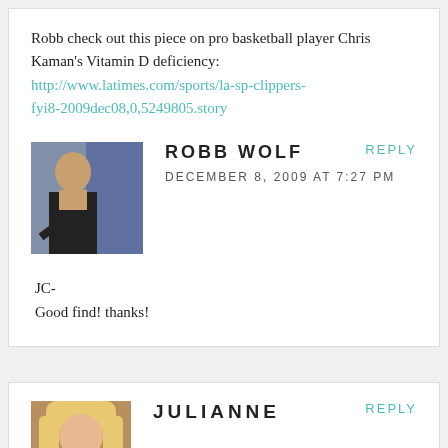Robb check out this piece on pro basketball player Chris Kaman's Vitamin D deficiency: http://www.latimes.com/sports/la-sp-clippers-fyi8-2009dec08,0,5249805.story
ROBB WOLF
DECEMBER 8, 2009 AT 7:27 PM
REPLY
JC-
Good find! thanks!
JULIANNE
REPLY